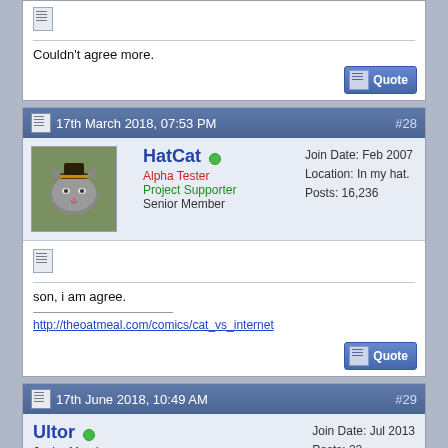Couldn't agree more.
[Figure (screenshot): Quote button with pencil/notepad icon]
17th March 2018, 07:53 PM  #28
[Figure (photo): Avatar of HatCat - grey cat wearing a hat]
HatCat (online) Alpha Tester Project Supporter Senior Member Join Date: Feb 2007 Location: In my hat. Posts: 16,236
son, i am agree.
http://theoatmeal.com/comics/cat_vs_internet
[Figure (screenshot): Quote button]
17th June 2018, 10:49 AM  #29
Ultor (online) Junior Member Join Date: Jul 2013 Posts: 22